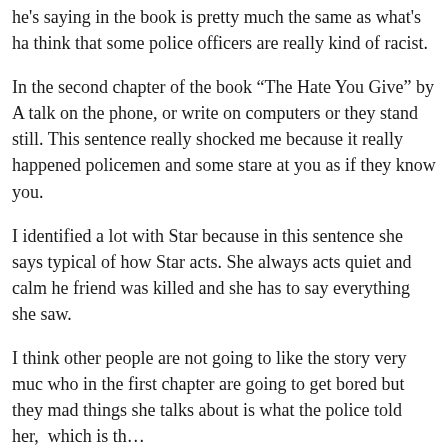he's saying in the book is pretty much the same as what's ha think that some police officers are really kind of racist.
In the second chapter of the book “The Hate You Give” by A talk on the phone, or write on computers or they stand still. This sentence really shocked me because it really happened policemen and some stare at you as if they know you.
I identified a lot with Star because in this sentence she says typical of how Star acts. She always acts quiet and calm he friend was killed and she has to say everything she saw.
I think other people are not going to like the story very muc who in the first chapter are going to get bored but they mad things she talks about is what the police told her,  which is th…
https://www.youthvoices.live/really-shocked-me-because